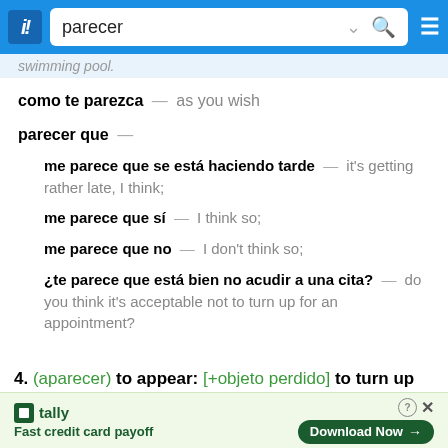parecer
swimming pool.
como te parezca — as you wish
parecer que —
me parece que se está haciendo tarde — it's getting rather late, I think;
me parece que sí — I think so;
me parece que no — I don't think so;
¿te parece que está bien no acudir a una cita? — do you think it's acceptable not to turn up for an appointment?
4. (aparecer) to appear: [+objeto perdido] to turn up
📱 Take SpanishDict with you
[Figure (screenshot): Tally app advertisement banner: Fast credit card payoff, with Download Now button]